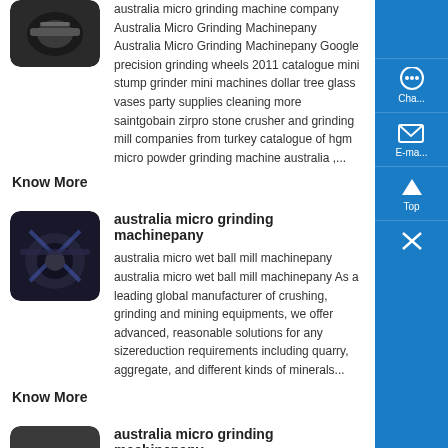[Figure (photo): Small thumbnail image of a grinding machine, top result, dark background, rounded corners]
australia micro grinding machine company Australia Micro Grinding Machinepany Australia Micro Grinding Machinepany Google precision grinding wheels 2011 catalogue mini stump grinder mini machines dollar tree glass vases party supplies cleaning more saintgobain zirpro stone crusher and grinding mill companies from turkey catalogue of hgm micro powder grinding machine australia ,...
Know More
[Figure (photo): Small thumbnail image of a grinding machine, second result, dark blue metallic background, rounded corners]
australia micro grinding machinepany
australia micro wet ball mill machinepany australia micro wet ball mill machinepany As a leading global manufacturer of crushing, grinding and mining equipments, we offer advanced, reasonable solutions for any sizereduction requirements including quarry, aggregate, and different kinds of minerals...
Know More
[Figure (photo): Small thumbnail image of a grinding machine part, third result, dark background with metallic object, rounded corners]
australia micro grinding machinepany
Australia Micro Grinding Machinepany Dri grinding 05 micron
[Figure (infographic): Blue sidebar with chat, email, top navigation icons and close button]